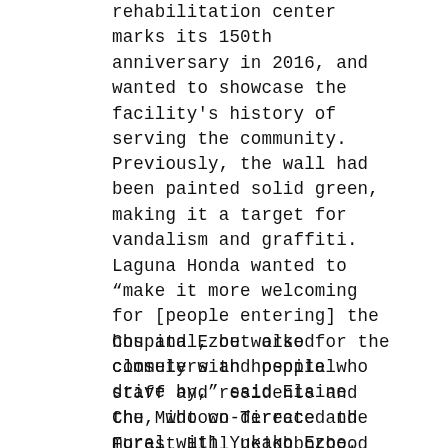rehabilitation center marks its 150th anniversary in 2016, and wanted to showcase the facility's history of serving the community.
Previously, the wall had been painted solid green, making it a target for vandalism and graffiti. Laguna Honda wanted to “make it more welcoming for [people entering] the hospital, but also for the commuters and people who drive by,” said Elaine Chu, who co-directed the mural with Yukako Ezoe.
Chu and Ezoe worked closely with hospital staff and residents and the Midtown Terrace and Forest Hill neighborhood associations to come up with the design. This included workshops where hospital residents and neighbors met with muralists to brainstorm and